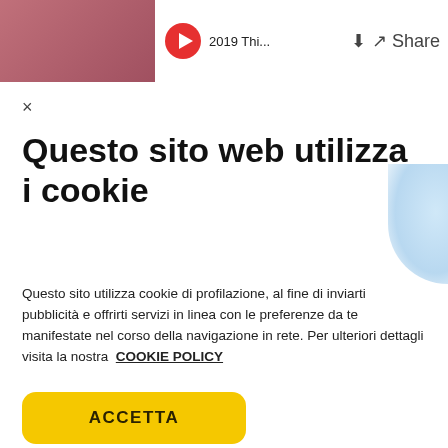[Figure (screenshot): Top browser/app bar showing a thumbnail image, play icon, video title '2019 Thi...', download and share buttons]
×
Questo sito web utilizza i cookie
Questo sito utilizza cookie di profilazione, al fine di inviarti pubblicità e offrirti servizi in linea con le preferenze da te manifestate nel corso della navigazione in rete. Per ulteriori dettagli visita la nostra COOKIE POLICY
ACCETTA
Impostazioni cookie